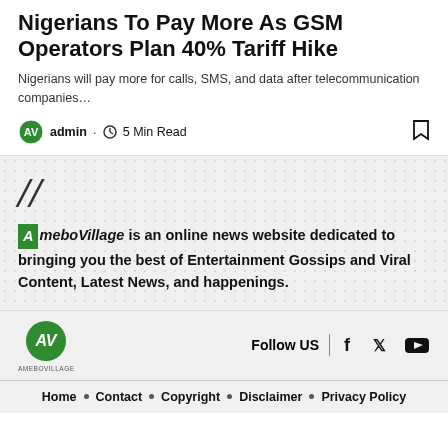Nigerians To Pay More As GSM Operators Plan 40% Tariff Hike
Nigerians will pay more for calls, SMS, and data after telecommunication companies…
admin · 5 Min Read
// AmeboVillage is an online news website dedicated to bringing you the best of Entertainment Gossips and Viral Content, Latest News, and happenings.
Follow US | Home · Contact · Copyright · Disclaimer · Privacy Policy